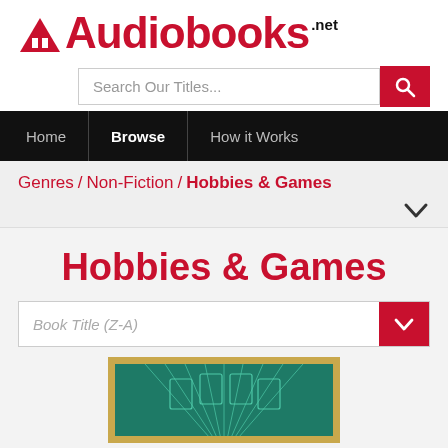[Figure (logo): Audiobooks.net logo with red triangle/cone icon and red bold text 'Audiobooks' with '.net' superscript in black]
[Figure (screenshot): Search bar with placeholder 'Search Our Titles...' and red search button]
Home | Browse | How it Works
Genres / Non-Fiction / Hobbies & Games
Hobbies & Games
Book Title (Z-A)
[Figure (illustration): Partial view of a book cover with teal/green background and gold border, showing decorative fan/card design]